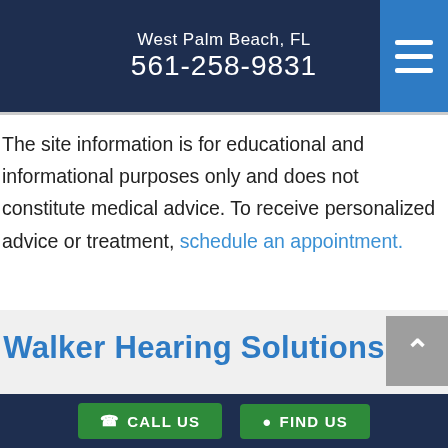West Palm Beach, FL
561-258-9831
The site information is for educational and informational purposes only and does not constitute medical advice. To receive personalized advice or treatment, schedule an appointment.
Walker Hearing Solutions
CALL US  FIND US